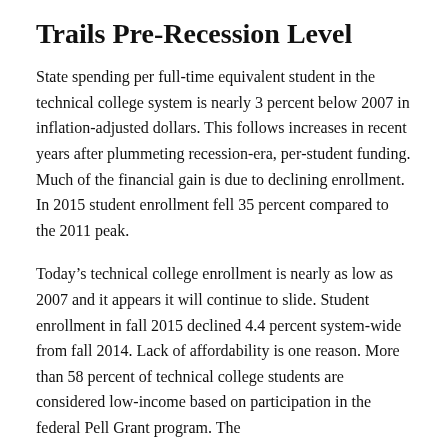Trails Pre-Recession Level
State spending per full-time equivalent student in the technical college system is nearly 3 percent below 2007 in inflation-adjusted dollars. This follows increases in recent years after plummeting recession-era, per-student funding. Much of the financial gain is due to declining enrollment. In 2015 student enrollment fell 35 percent compared to the 2011 peak.
Today's technical college enrollment is nearly as low as 2007 and it appears it will continue to slide. Student enrollment in fall 2015 declined 4.4 percent system-wide from fall 2014. Lack of affordability is one reason. More than 58 percent of technical college students are considered low-income based on participation in the federal Pell Grant program. The